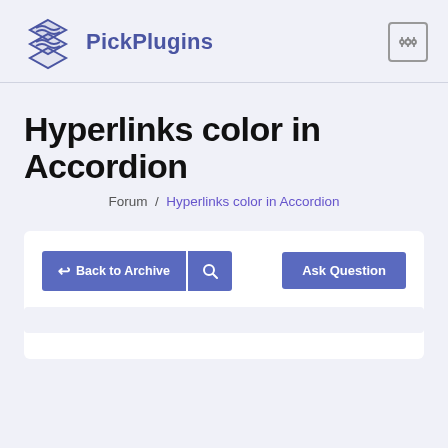PickPlugins
Hyperlinks color in Accordion
Forum / Hyperlinks color in Accordion
Back to Archive | Ask Question